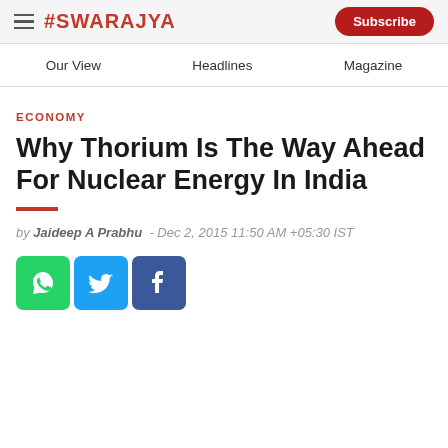#SWARAJYA | Subscribe
Our View | Headlines | Magazine
ECONOMY
Why Thorium Is The Way Ahead For Nuclear Energy In India
by Jaideep A Prabhu - Dec 2, 2015 11:50 AM +05:30 IST
[Figure (other): Social share icons: WhatsApp (green), Twitter (blue), Facebook (dark blue)]